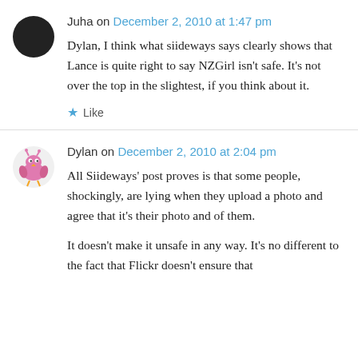Juha on December 2, 2010 at 1:47 pm
Dylan, I think what siideways says clearly shows that Lance is quite right to say NZGirl isn't safe. It's not over the top in the slightest, if you think about it.
★ Like
Dylan on December 2, 2010 at 2:04 pm
All Siideways' post proves is that some people, shockingly, are lying when they upload a photo and agree that it's their photo and of them.
It doesn't make it unsafe in any way. It's no different to the fact that Flickr doesn't ensure that